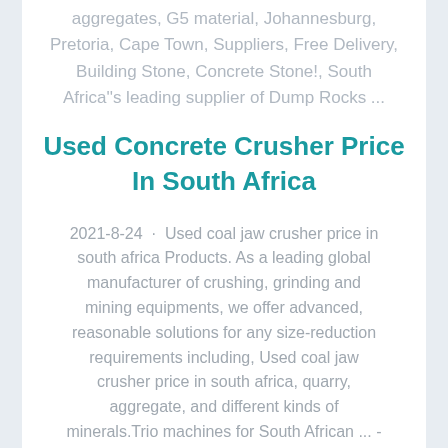aggregates, G5 material, Johannesburg, Pretoria, Cape Town, Suppliers, Free Delivery, Building Stone, Concrete Stone!, South Africa''s leading supplier of Dump Rocks ...
Used Concrete Crusher Price In South Africa
2021-8-24 · Used coal jaw crusher price in south africa Products. As a leading global manufacturer of crushing, grinding and mining equipments, we offer advanced, reasonable solutions for any size-reduction requirements including, Used coal jaw crusher price in south africa, quarry, aggregate, and different kinds of minerals.Trio machines for South African ... - Aggregate Research2016-5-12 · Weir Minerals Africa has supplied crushing and screening equipment to CNC Crushers Roadstone, South Africa, CNC Crushers